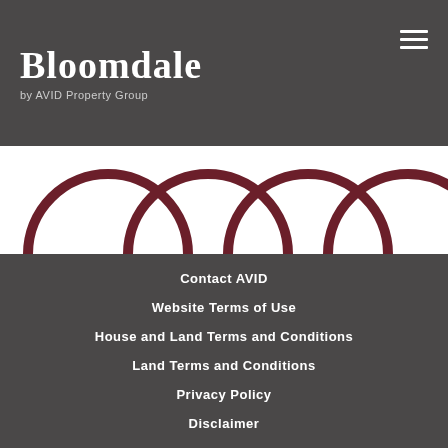Bloomdale by AVID Property Group
[Figure (illustration): Four dark red/maroon arch shapes (partial circles) arranged in a row, partially cropped at top by the header, on a white background]
Contact AVID
Website Terms of Use
House and Land Terms and Conditions
Land Terms and Conditions
Privacy Policy
Disclaimer